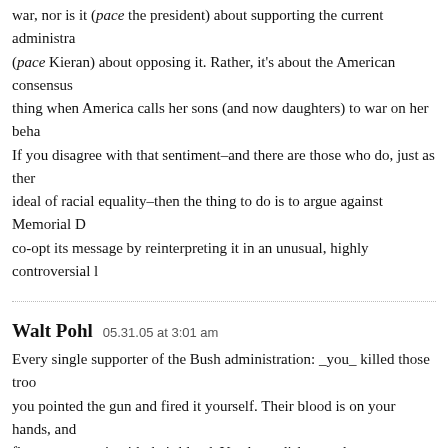war, nor is it (pace the president) about supporting the current administration, nor is it (pace Kieran) about opposing it. Rather, it's about the American consensus on one thing when America calls her sons (and now daughters) to war on her behalf. If you disagree with that sentiment–and there are those who do, just as there are those who dispute the ideal of racial equality–then the thing to do is to argue against Memorial Day, not to co-opt its message by reinterpreting it in an unusual, highly controversial l
Walt Pohl   05.31.05 at 3:01 am
Every single supporter of the Bush administration: _you_ killed those troo you pointed the gun and fired it yourself. Their blood is on your hands, and flag you smear it with their blood. You have dishonored your country, and you for it.
Eric   05.31.05 at 3:02 am
If what Kieran wrote bothers you, maybe you should examine why, rather t Patriotism isn't blind obedience.
It's worth noting that I am not an American, yet still think this is a poor po